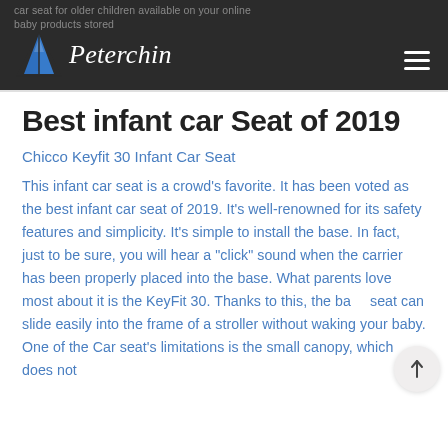car seat for older children available on your online baby products stored
[Figure (logo): Peterchin logo with blue triangle/mountain icon and cursive white text 'Peterchin' on dark background]
Best infant car Seat of 2019
Chicco Keyfit 30 Infant Car Seat
This infant car seat is a crowd’s favorite. It has been voted as the best infant car seat of 2019. It’s well-renowned for its safety features and simplicity. It’s simple to install the base. In fact, just to be sure, you will hear a “click” sound when the carrier has been properly placed into the base. What parents love most about it is the KeyFit 30. Thanks to this, the baby seat can slide easily into the frame of a stroller without waking your baby. One of the Car seat’s limitations is the small canopy, which does not